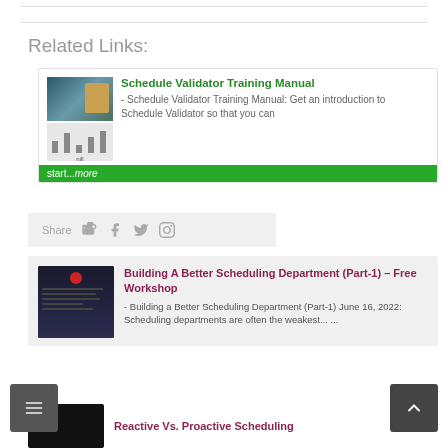Related Links:
[Figure (screenshot): Card showing 'Schedule Validator Training Manual' with thumbnail images and green footer bar with 'start... more' text]
Schedule Validator Training Manual
- Schedule Validator Training Manual: Get an introduction to Schedule Validator so that you can start... more
Share
[Figure (screenshot): Card for 'Building A Better Scheduling Department (Part-1) – Free Workshop' with dark thumbnail and gray background]
Building A Better Scheduling Department (Part-1) – Free Workshop
- Building a Better Scheduling Department (Part-1) June 16, 2022: Scheduling departments are often the weakest... ...
Reactive Vs. Proactive Scheduling